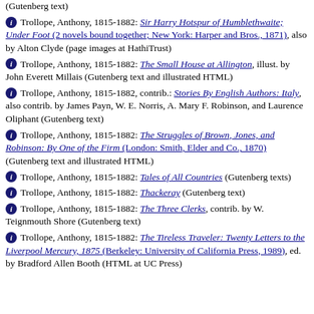(Gutenberg text)
Trollope, Anthony, 1815-1882: Sir Harry Hotspur of Humblethwaite; Under Foot (2 novels bound together; New York: Harper and Bros., 1871), also by Alton Clyde (page images at HathiTrust)
Trollope, Anthony, 1815-1882: The Small House at Allington, illust. by John Everett Millais (Gutenberg text and illustrated HTML)
Trollope, Anthony, 1815-1882, contrib.: Stories By English Authors: Italy, also contrib. by James Payn, W. E. Norris, A. Mary F. Robinson, and Laurence Oliphant (Gutenberg text)
Trollope, Anthony, 1815-1882: The Struggles of Brown, Jones, and Robinson: By One of the Firm (London: Smith, Elder and Co., 1870) (Gutenberg text and illustrated HTML)
Trollope, Anthony, 1815-1882: Tales of All Countries (Gutenberg texts)
Trollope, Anthony, 1815-1882: Thackeray (Gutenberg text)
Trollope, Anthony, 1815-1882: The Three Clerks, contrib. by W. Teignmouth Shore (Gutenberg text)
Trollope, Anthony, 1815-1882: The Tireless Traveler: Twenty Letters to the Liverpool Mercury, 1875 (Berkeley: University of California Press, 1989), ed. by Bradford Allen Booth (HTML at UC Press)